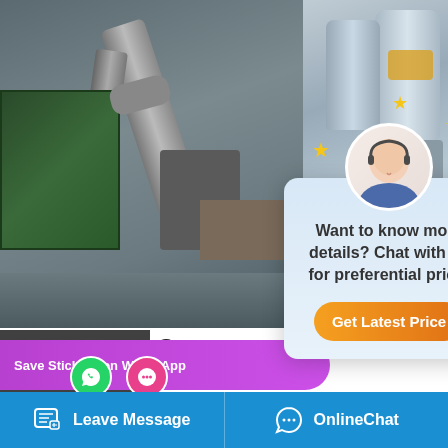[Figure (photo): Industrial boiler machinery and equipment in a factory/warehouse setting. Left photo shows green industrial machines with pipes. Right photo shows large cylindrical boiler tanks.]
Commercial Biomass Atmospheric Boiler Machine Use
8 Biomass Atmospheric ... 1t Natural Gas boiler Industrial Agent Kuwait. 1t gas fired boiler Dealer Turkey - seahousesholidays.co.uk. Sitong boiler designed a wide range of industrial boilers that could be used for food industry for example: WNS series natural gas fired boiler ...nal oil heater and DZL fuel chain grate .
Chat
Email
Contact
Save Stickers on WhatsApp
Want to know more details? Chat with us for preferential price!
Get Latest Price
Leave Message
OnlineChat